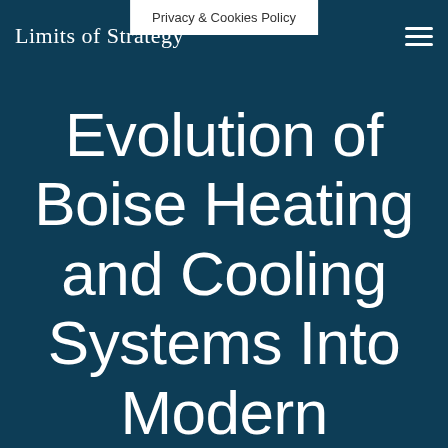Limits of Strategy
Privacy & Cookies Policy
Evolution of Boise Heating and Cooling Systems Into Modern Homes